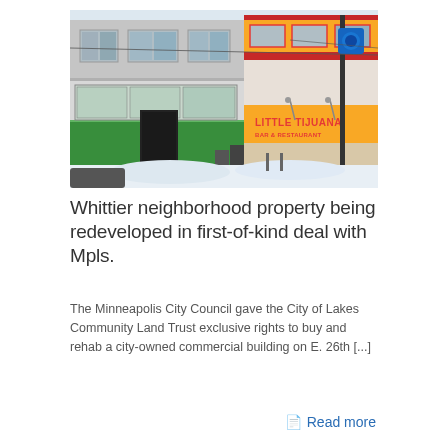[Figure (photo): Street-level photograph of commercial buildings in winter. Left building has white/grey facade with green storefront trim and large display windows. Right building has yellow awning with red lettering reading 'LITTLE TIJUANA BAR & RESTAURANT'. Snow visible on ground. Blue city banner on pole in background.]
Whittier neighborhood property being redeveloped in first-of-kind deal with Mpls.
The Minneapolis City Council gave the City of Lakes Community Land Trust exclusive rights to buy and rehab a city-owned commercial building on E. 26th [...]
Read more